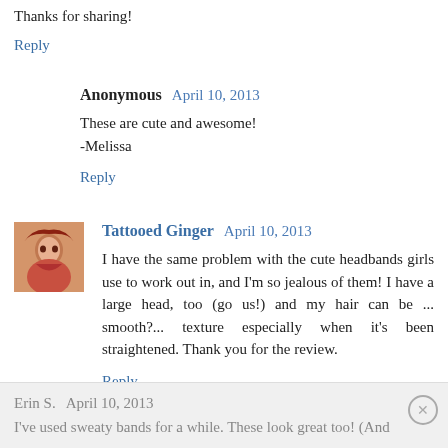Thanks for sharing!
Reply
Anonymous  April 10, 2013
These are cute and awesome!
-Melissa
Reply
Tattooed Ginger  April 10, 2013
I have the same problem with the cute headbands girls use to work out in, and I'm so jealous of them! I have a large head, too (go us!) and my hair can be ... smooth?... texture especially when it's been straightened. Thank you for the review.
Reply
Erin S.  April 10, 2013
I've used sweaty bands for a while. These look great too! (And